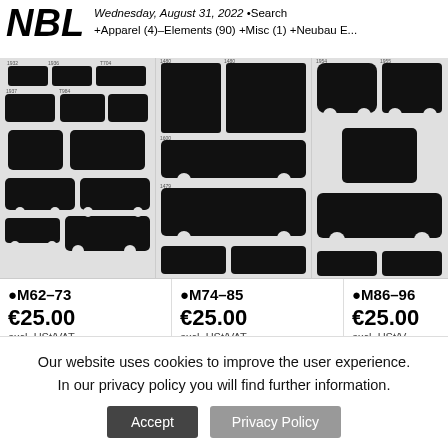NBL  Wednesday, August 31, 2022 • Search +Apparel (4)–Elements (90) +Misc (1) +Neubau E...
[Figure (illustration): Silhouette blueprint views of multiple cars (M62-73 set) in black on light grey background]
[Figure (illustration): Silhouette blueprint views of vans and vehicles (M74-85 set) in black on light grey background]
[Figure (illustration): Silhouette blueprint views of vehicles (M86-96 set, partially visible) in black on light grey background]
•M62–73
€25.00
excl. USt/VAT
•M74–85
€25.00
excl. USt/VAT
•M86–96
€25.00
excl. USt/V...
[Figure (illustration): Silhouette blueprint views of military vehicles and equipment in black on light grey background]
[Figure (illustration): Silhouette blueprint views of commercial aircraft in black on light grey background]
[Figure (illustration): Silhouette blueprint views of aircraft (partially visible) in black on light grey background]
Our website uses cookies to improve the user experience. In our privacy policy you will find further information.
Accept  Privacy Policy